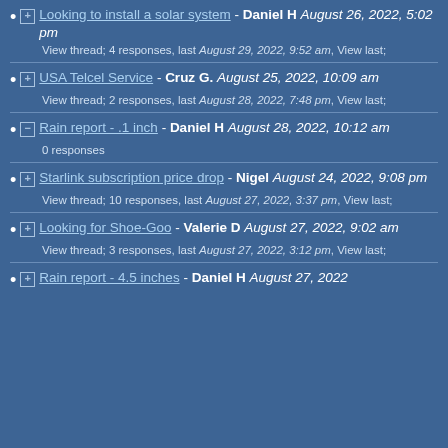Looking to install a solar system - Daniel H August 26, 2022, 5:02 pm
View thread; 4 responses, last August 29, 2022, 9:52 am, View last;
USA Telcel Service - Cruz G. August 25, 2022, 10:09 am
View thread; 2 responses, last August 28, 2022, 7:48 pm, View last;
Rain report - .1 inch - Daniel H August 28, 2022, 10:12 am
0 responses
Starlink subscription price drop - Nigel August 24, 2022, 9:08 pm
View thread; 10 responses, last August 27, 2022, 3:37 pm, View last;
Looking for Shoe-Goo - Valerie D August 27, 2022, 9:02 am
View thread; 3 responses, last August 27, 2022, 3:12 pm, View last;
Rain report - 4.5 inches - Daniel H August 27, 2022